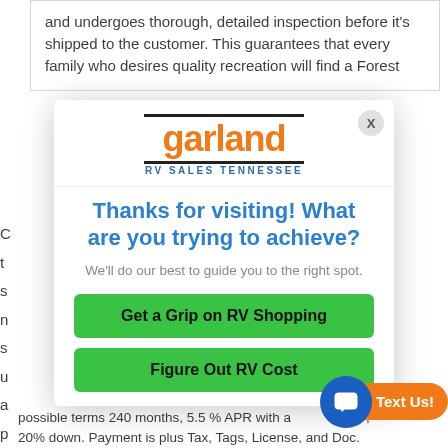and undergoes thorough, detailed inspection before it's shipped to the customer. This guarantees that every family who desires quality recreation will find a Forest
[Figure (logo): Garland RV Sales Tennessee logo with orange 'garland' text and blue 'RV SALES TENNESSEE' subtitle, framed by two horizontal black lines]
Thanks for visiting! What are you trying to achieve?
We'll do our best to guide you to the right spot.
Get a Grip on RV Shopping
Figure Out RV Cost
possible terms 240 months, 5.5 % APR with a______, 20% down. Payment is plus Tax, Tags, License, and Doc.